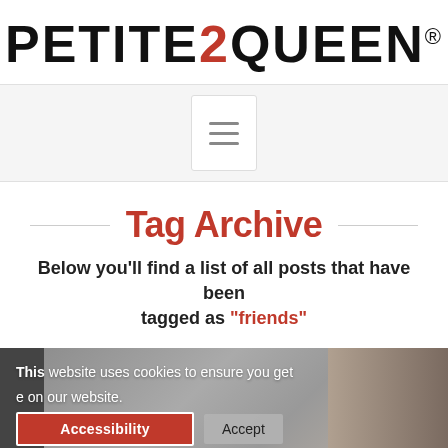[Figure (logo): Petite2Queen logo with '2' in red and registered trademark symbol]
[Figure (screenshot): Navigation bar with hamburger menu button (three horizontal lines)]
Tag Archive
Below you'll find a list of all posts that have been tagged as "friends"
[Figure (photo): Photo of woman in car, partially visible, with cookie consent bar overlay showing 'This website uses cookies to ensure you get [the best experience] on our website.' with Accessibility and Accept buttons]